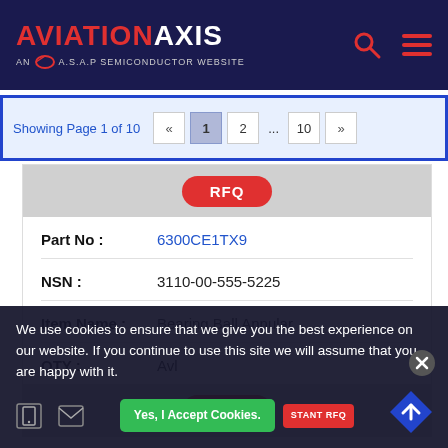AVIATION AXIS AN A.S.A.P SEMICONDUCTOR WEBSITE
Showing Page 1 of 10  «  1  2  ...  10  »
| Field | Value |
| --- | --- |
| Part No : | 6300CE1TX9 |
| NSN : | 3110-00-555-5225 |
| Item Name : | Bearing Ball Annular |
| QTY : | Avl |
We use cookies to ensure that we give you the best experience on our website. If you continue to use this site we will assume that you are happy with it.
Yes, I Accept Cookies.